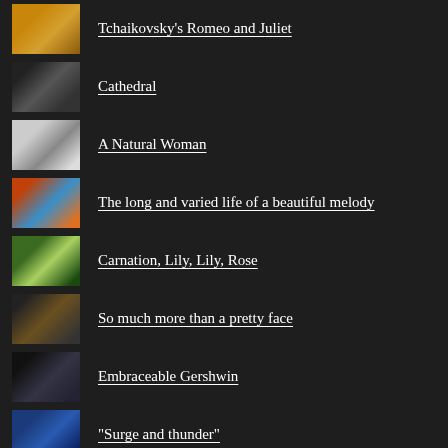Tchaikovsky's Romeo and Juliet
Cathedral
A Natural Woman
The long and varied life of a beautiful melody
Carnation, Lily, Lily, Rose
So much more than a pretty face
Embraceable Gershwin
"Surge and thunder"